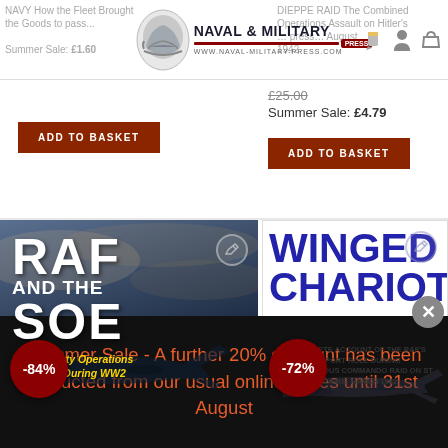Naval & Military Press — www.naval-military-press.com
NAVY How the Fleet Brought the Goods to pass... Summer Sale: £1.60
ADD TO BASKET
DIEPPE RAID The Combined Operations Assault on Hitler's... Summer Sale August 1942
£25.00 Summer Sale: £4.79
ADD TO BASKET
[Figure (illustration): Book cover: RAF and the SOE - Special Duty Operations in Europe During WW2, with -84% discount badge]
[Figure (illustration): Book cover: Winged Chariot - A Complete Account of the RAF's Support Role During the Audacious Commando Raid on St Nazaire, March 1942, with -72% discount badge]
Summer Sale - A further 20% discount has been deducted from our usual online prices until 31st August